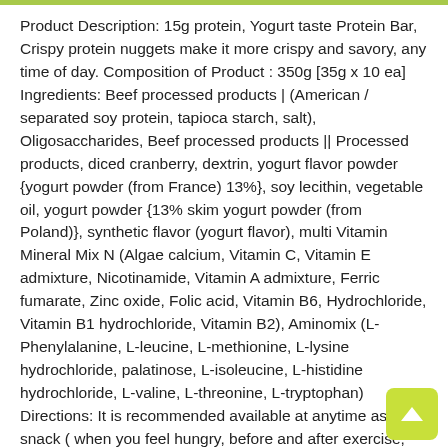Product Description: 15g protein, Yogurt taste Protein Bar, Crispy protein nuggets make it more crispy and savory, any time of day. Composition of Product : 350g [35g x 10 ea] Ingredients: Beef processed products | (American / separated soy protein, tapioca starch, salt), Oligosaccharides, Beef processed products || Processed products, diced cranberry, dextrin, yogurt flavor powder {yogurt powder (from France) 13%}, soy lecithin, vegetable oil, yogurt powder {13% skim yogurt powder (from Poland)}, synthetic flavor (yogurt flavor), multi Vitamin Mineral Mix N (Algae calcium, Vitamin C, Vitamin E admixture, Nicotinamide, Vitamin A admixture, Ferric fumarate, Zinc oxide, Folic acid, Vitamin B6, Hydrochloride, Vitamin B1 hydrochloride, Vitamin B2), Aminomix (L- Phenylalanine, L-leucine, L-methionine, L-lysine hydrochloride, palatinose, L-isoleucine, L-histidine hydrochloride, L-valine, L-threonine, L-tryptophan) Directions: It is recommended available at anytime as a snack ( when you feel hungry, before and after exercise, before and after meals!) Box Contains